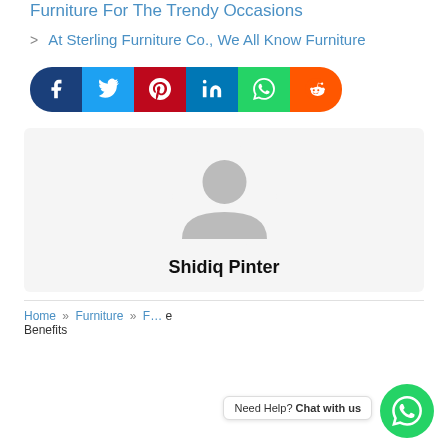Furniture For The Trendy Occasions
> At Sterling Furniture Co., We All Know Furniture
[Figure (infographic): Social media share buttons: Facebook (dark blue), Twitter (light blue), Pinterest (red), LinkedIn (teal blue), WhatsApp (green), Reddit (orange)]
[Figure (photo): Generic user avatar icon (grey silhouette person)]
Shidiq Pinter
Home » Furniture » F... Benefits
Need Help? Chat with us